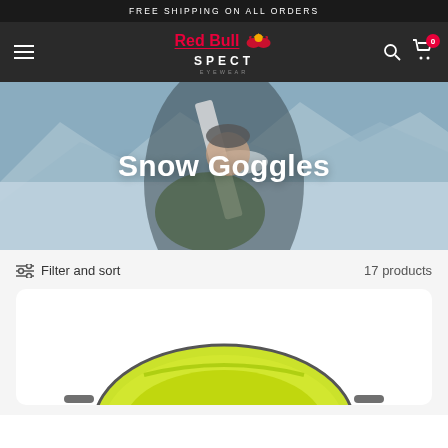FREE SHIPPING ON ALL ORDERS
[Figure (logo): Red Bull SPECT Eyewear logo with red bull text and bull icon, white SPECT text below]
[Figure (photo): Skier holding skis over shoulder wearing snow goggles with snowy mountain backdrop, overlay text reads Snow Goggles]
Snow Goggles
Filter and sort   17 products
[Figure (photo): Snow goggle product shown from below, yellow-green lens visible at bottom of card on white background]